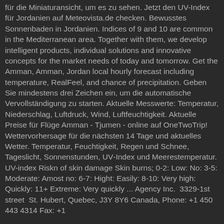für die Miniaturansicht, um es zu sehen. Jetzt den UV-Index für Jordanien auf Meteovista.de checken. Bewusstes Sonnenbaden in Jordanien. Indices of 9 and 10 are common in the Mediterranean area. Together with them, we develop intelligent products, individual solutions and innovative concepts for the market needs of today and tomorrow. Get the Amman, Amman, Jordan local hourly forecast including temperature, RealFeel, and chance of precipitation. Geben Sie mindestens drei Zeichen ein, um die automatische Vervollständigung zu starten. Aktuelle Messwerte: Temperatur, Niederschlag, Luftdruck, Wind, Luftfeuchtigkeit. Aktuelle Preise für Flüge Amman - Tjumen - online auf OneTwoTrip! Wettervorhersage für die nächsten 14 Tage und aktuelles Wetter. Temperatur, Feuchtigkeit, Regen und Schnee, Tageslicht, Sonnenstunden, UV-Index und Meerestemperatur. UV-index Riskn of skin damage Skin burns; 0-2: Low: No: 3-5: Moderate: Amost no: 6-7: Hight: Easily: 8-10: Very high: Quickly: 11+ Extreme: Very quickly ... Agency Inc.  3329-1st street  St. Hubert, Quebec, J3Y 8Y6 Canada, Phone: +1 450 443 4314 Fax: +1